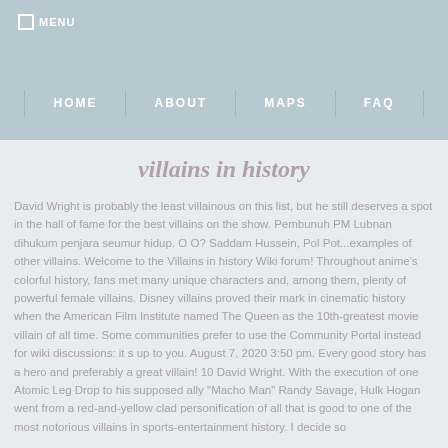MENU | HOME | ABOUT | MAPS | FAQ
villains in history
David Wright is probably the least villainous on this list, but he still deserves a spot in the hall of fame for the best villains on the show. Pembunuh PM Lubnan dihukum penjara seumur hidup. O O? Saddam Hussein, Pol Pot...examples of other villains. Welcome to the Villains in history Wiki forum! Throughout anime's colorful history, fans met many unique characters and, among them, plenty of powerful female villains. Disney villains proved their mark in cinematic history when the American Film Institute named The Queen as the 10th-greatest movie villain of all time. Some communities prefer to use the Community Portal instead for wiki discussions: it s up to you. August 7, 2020 3:50 pm. Every good story has a hero and preferably a great villain! 10 David Wright. With the execution of one Atomic Leg Drop to his supposed ally "Macho Man" Randy Savage, Hulk Hogan went from a red-and-yellow clad personification of all that is good to one of the most notorious villains in sports-entertainment history. I decide so